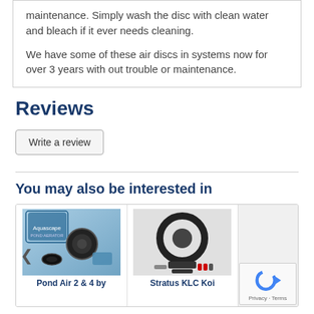maintenance. Simply wash the disc with clean water and bleach if it ever needs cleaning.
We have some of these air discs in systems now for over 3 years with out trouble or maintenance.
Reviews
Write a review
You may also be interested in
[Figure (photo): Product thumbnail: Pond Air 2 & 4 by Aquascape]
Pond Air 2 & 4 by
[Figure (photo): Product thumbnail: Stratus KLC Koi]
Stratus KLC Koi